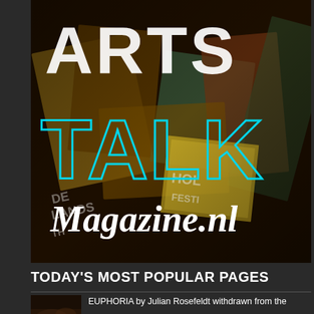[Figure (logo): ArtsTalk Magazine.nl logo on a collage background of festival posters and printed materials. Large white 'ARTS' text at top, 'TALK' in cyan outline letters, and cursive 'Magazine.nl' in white below.]
TODAY'S MOST POPULAR PAGES
[Figure (photo): Small thumbnail image showing a crowd or gathering scene in dark tones]
EUPHORIA by Julian Rosefeldt withdrawn from the Holland Festival